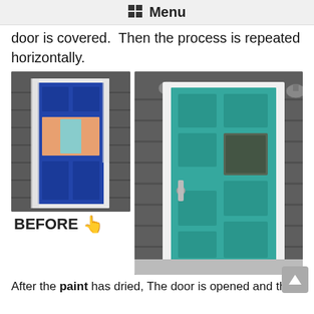Menu
door is covered.  Then the process is repeated horizontally.
[Figure (photo): Before and after photos of a front door. Left photo shows the door covered in blue paint with masking tape/paper. Right photo shows the finished teal/turquoise door with white trim on a gray house.]
BEFORE 👆
After the paint has dried, The door is opened and the...